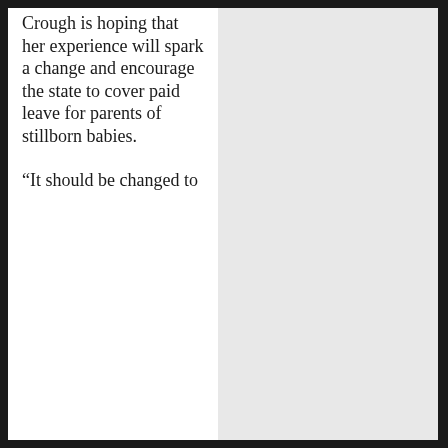Crough is hoping that her experience will spark a change and encourage the state to cover paid leave for parents of stillborn babies.
“It should be changed to